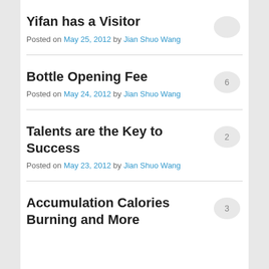Yifan has a Visitor
Posted on May 25, 2012 by Jian Shuo Wang
Bottle Opening Fee
Posted on May 24, 2012 by Jian Shuo Wang
Talents are the Key to Success
Posted on May 23, 2012 by Jian Shuo Wang
Accumulation Calories Burning and More